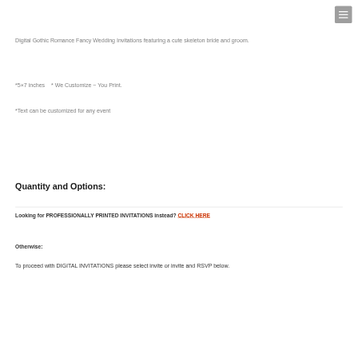[Figure (other): Hamburger menu button icon in gray square, top right corner]
Digital Gothic Romance Fancy Wedding Invitations featuring a cute skeleton bride and groom.
*5×7 inches   * We Customize ~ You Print.
*Text can be customized for any event
Quantity and Options:
Looking for PROFESSIONALLY PRINTED INVITATIONS instead? CLICK HERE
Otherwise:
To proceed with DIGITAL INVITATIONS please select invite or invite and RSVP below.